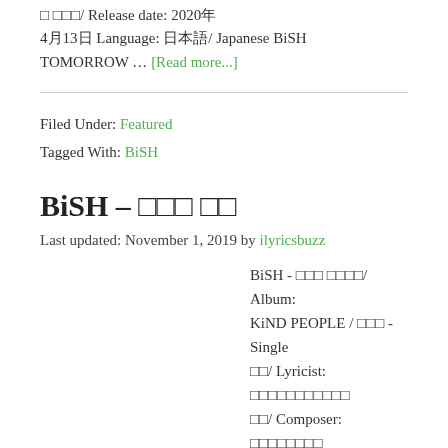� ���/ Release date: 2020年4月13日 Language: 日本語/ Japanese BiSH TOMORROW … [Read more...]
Filed Under: Featured
Tagged With: BiSH
BiSH – ◻◻◻ ◻◻
Last updated: November 1, 2019 by ilyricsbuzz
BiSH - ◻◻◻ ◻◻◻◻/ Album: KiND PEOPLE / ◻◻◻ - Single ◻◻/ Lyricist: ◻◻◻◻◻◻◻◻◻◻◻/ Composer: ◻◻◻◻◻◻◻◻